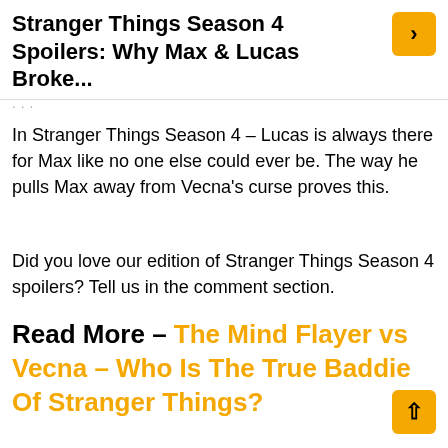Stranger Things Season 4 Spoilers: Why Max & Lucas Broke...
In Stranger Things Season 4 – Lucas is always there for Max like no one else could ever be. The way he pulls Max away from Vecna's curse proves this.
Did you love our edition of Stranger Things Season 4 spoilers? Tell us in the comment section.
Read More – The Mind Flayer vs Vecna – Who Is The True Baddie Of Stranger Things?